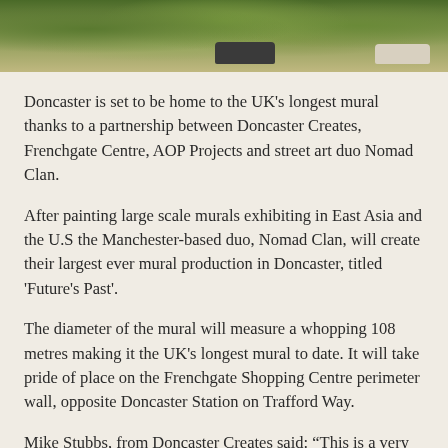[Figure (photo): Photograph of trees and greenery with cars parked below, cropped at top of page]
Doncaster is set to be home to the UK's longest mural thanks to a partnership between Doncaster Creates, Frenchgate Centre, AOP Projects and street art duo Nomad Clan.
After painting large scale murals exhibiting in East Asia and the U.S the Manchester-based duo, Nomad Clan, will create their largest ever mural production in Doncaster, titled 'Future's Past'.
The diameter of the mural will measure a whopping 108 metres making it the UK's longest mural to date. It will take pride of place on the Frenchgate Shopping Centre perimeter wall, opposite Doncaster Station on Trafford Way.
Mike Stubbs, from Doncaster Creates said: “This is a very exciting project for the town, and we are extremely proud to be working with internationally recognised artists,